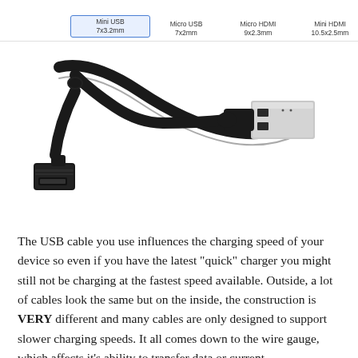[Figure (illustration): Row of connector silhouettes at top: Mini USB (7x3.2mm), Micro USB (7x2mm), Micro HDMI (9x2.3mm), Mini HDMI (10.5x2.5mm). Below: photo of a black USB cable with Mini USB connector on one end and standard USB-A connector on the other end.]
The USB cable you use influences the charging speed of your device so even if you have the latest "quick" charger you might still not be charging at the fastest speed available. Outside, a lot of cables look the same but on the inside, the construction is VERY different and many cables are only designed to support slower charging speeds. It all comes down to the wire gauge, which affects it's ability to transfer data or current.
A USB cable consists of 4 wires: